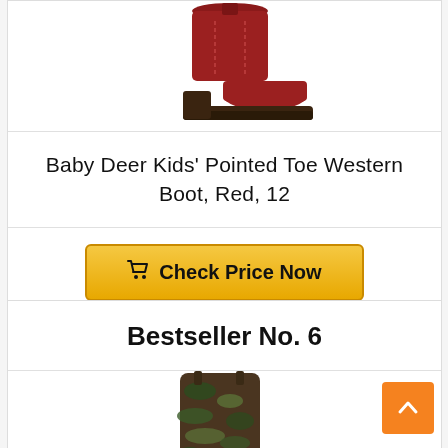[Figure (photo): Red pointed toe western boot for kids, partially visible at top of card]
Baby Deer Kids' Pointed Toe Western Boot, Red, 12
Check Price Now
Bestseller No. 6
[Figure (photo): Dark brown and camouflage pattern kids cowboy boot, partially visible]